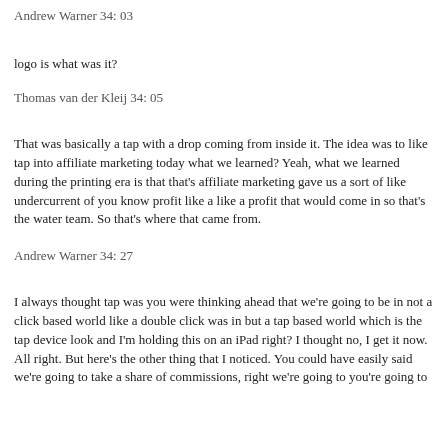Andrew Warner 34: 03
logo is what was it?
Thomas van der Kleij 34: 05
That was basically a tap with a drop coming from inside it. The idea was to like tap into affiliate marketing today what we learned? Yeah, what we learned during the printing era is that that's affiliate marketing gave us a sort of like undercurrent of you know profit like a like a profit that would come in so that's the water team. So that's where that came from.
Andrew Warner 34: 27
I always thought tap was you were thinking ahead that we're going to be in not a click based world like a double click was in but a tap based world which is the tap device look and I'm holding this on an iPad right? I thought no, I get it now. All right. But here's the other thing that I noticed. You could have easily said we're going to take a share of commissions, right we're going to you're going to